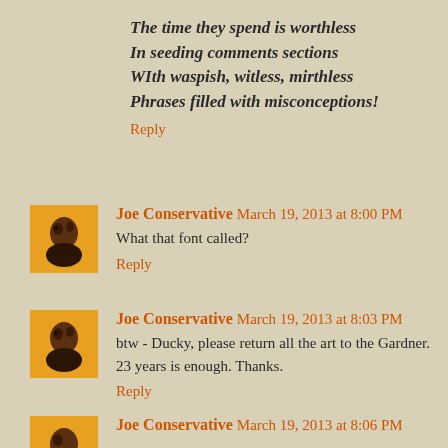The time they spend is worthless
In seeding comments sections
WIth waspish, witless, mirthless
Phrases filled with misconceptions!
Reply
Joe Conservative March 19, 2013 at 8:00 PM
What that font called?
Reply
Joe Conservative March 19, 2013 at 8:03 PM
btw - Ducky, please return all the art to the Gardner. 23 years is enough. Thanks.
Reply
Joe Conservative March 19, 2013 at 8:06 PM